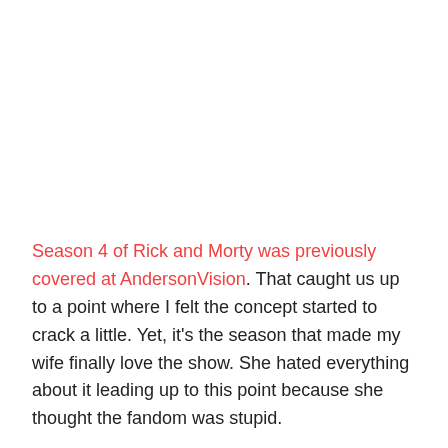Season 4 of Rick and Morty was previously covered at AndersonVision. That caught us up to a point where I felt the concept started to crack a little. Yet, it's the season that made my wife finally love the show. She hated everything about it leading up to this point because she thought the fandom was stupid.